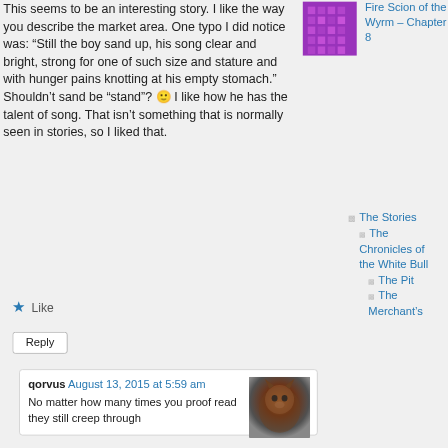This seems to be an interesting story. I like the way you describe the market area. One typo I did notice was: “Still the boy sand up, his song clear and bright, strong for one of such size and stature and with hunger pains knotting at his empty stomach.” Shouldn’t sand be “stand”? 🙂 I like how he has the talent of song. That isn’t something that is normally seen in stories, so I liked that.
★ Like
Reply
qorvus August 13, 2015 at 5:59 am
No matter how many times you proof read they still creep through
Fire Scion of the Wyrm – Chapter 8
The Stories
The Chronicles of the White Bull
The Pit
The Merchant’s
Privacy & Cookies: This site uses cookies. By continuing to use this website, you agree to their use.
To find out more, including how to control cookies, see here: Cookie Policy
Close and accept